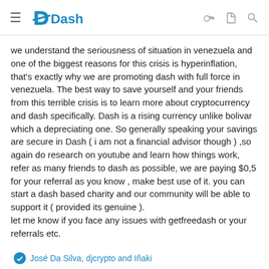Dash
we understand the seriousness of situation in venezuela and one of the biggest reasons for this crisis is hyperinflation, that's exactly why we are promoting dash with full force in venezuela. The best way to save yourself and your friends from this terrible crisis is to learn more about cryptocurrency and dash specifically. Dash is a rising currency unlike bolivar which a depreciating one. So generally speaking your savings are secure in Dash ( i am not a financial advisor though ) ,so again do research on youtube and learn how things work, refer as many friends to dash as possible, we are paying $0,5 for your referral as you know , make best use of it. you can start a dash based charity and our community will be able to support it ( provided its genuine ).
let me know if you face any issues with getfreedash or your referrals etc.
José Da Silva, djcrypto and Iñaki
Dashmaximalist
Active Member